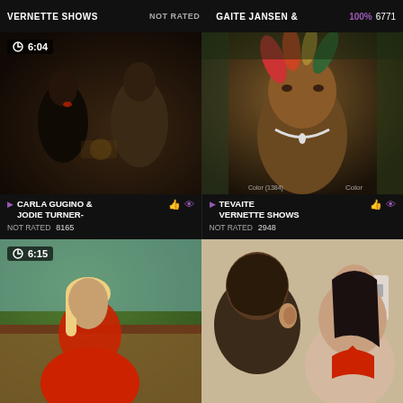VERNETTE SHOWS   NOT RATED   GAITE JANSEN &   100%  6771
[Figure (screenshot): Video thumbnail showing two people at a dimly lit bar/restaurant, duration 6:04]
[Figure (screenshot): Video thumbnail showing a man in traditional Maori costume with feather headdress, duration 5:58]
CARLA GUGINO & JODIE TURNER-   NOT RATED  8165
TEVAITE VERNETTE SHOWS   NOT RATED  2948
[Figure (screenshot): Video thumbnail showing a woman in red outdoors, duration 6:15]
[Figure (screenshot): Video thumbnail showing a man and woman in red bikini top indoors, duration 6:33]
LIFE-WORK WITH LOUISE- BUSHMI   NOT RATED   ANNA MORNA BABE LOST HER KEY...   100%  6772